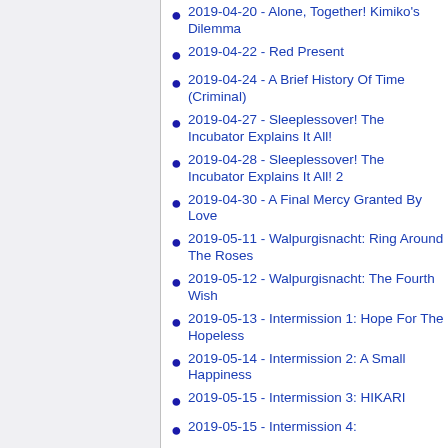2019-04-20 - Alone, Together! Kimiko's Dilemma
2019-04-22 - Red Present
2019-04-24 - A Brief History Of Time (Criminal)
2019-04-27 - Sleeplessover! The Incubator Explains It All!
2019-04-28 - Sleeplessover! The Incubator Explains It All! 2
2019-04-30 - A Final Mercy Granted By Love
2019-05-11 - Walpurgisnacht: Ring Around The Roses
2019-05-12 - Walpurgisnacht: The Fourth Wish
2019-05-13 - Intermission 1: Hope For The Hopeless
2019-05-14 - Intermission 2: A Small Happiness
2019-05-15 - Intermission 3: HIKARI
2019-05-15 - Intermission 4: